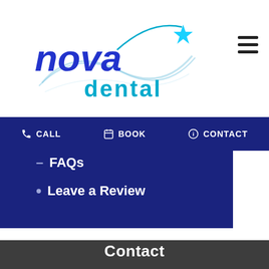[Figure (logo): Nova Dental logo with blue gradient text 'nova dental' and curved swoosh with star]
CALL   BOOK   CONTACT
FAQs
Leave a Review
Contact